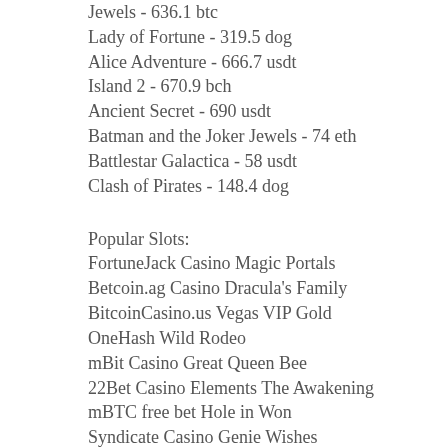Jewels - 636.1 btc
Lady of Fortune - 319.5 dog
Alice Adventure - 666.7 usdt
Island 2 - 670.9 bch
Ancient Secret - 690 usdt
Batman and the Joker Jewels - 74 eth
Battlestar Galactica - 58 usdt
Clash of Pirates - 148.4 dog
Popular Slots:
FortuneJack Casino Magic Portals
Betcoin.ag Casino Dracula's Family
BitcoinCasino.us Vegas VIP Gold
OneHash Wild Rodeo
mBit Casino Great Queen Bee
22Bet Casino Elements The Awakening
mBTC free bet Hole in Won
Syndicate Casino Genie Wishes
1xSlots Casino Epic Gems
BetChain Casino 3 Butterflies
Syndicate Casino Space Race